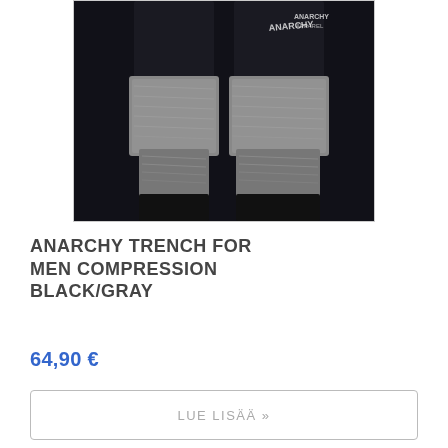[Figure (photo): Product photo of Anarchy Trench For Men Compression Black/Gray leggings — two legs shown from waist to ankle, dark black at top fading to textured gray/white pattern in middle, with black ankle cuffs. White brand text visible on right leg.]
ANARCHY TRENCH FOR MEN COMPRESSION BLACK/GRAY
64,90 €
LUE LISÄÄ »